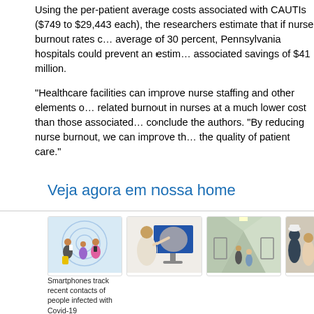Using the per-patient average costs associated with CAUTIs ($749 to $29,443 each), the researchers estimate that if nurse burnout rates could be reduced to an average of 30 percent, Pennsylvania hospitals could prevent an estimated and associated savings of $41 million.
"Healthcare facilities can improve nurse staffing and other elements of work-related burnout in nurses at a much lower cost than those associated with CAUTIs," conclude the authors. "By reducing nurse burnout, we can improve the quality of patient care."
Veja agora em nossa home
[Figure (photo): Illustration of people with smartphones and connectivity rings — contact tracing concept]
[Figure (photo): Man pointing at a large medical imaging screen]
[Figure (photo): Hospital corridor with patients and healthcare workers]
[Figure (photo): Healthcare worker consulting with a patient]
Smartphones track recent contacts of people infected with Covid-19